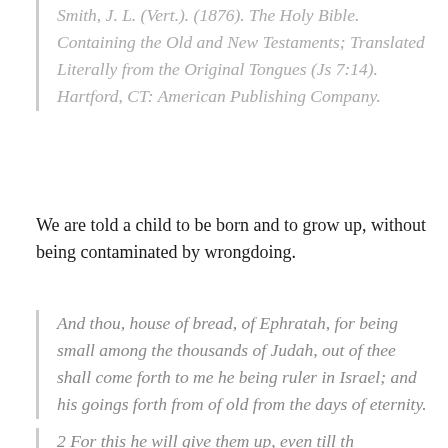Smith, J. L. (Vert.). (1876). The Holy Bible. Containing the Old and New Testaments; Translated Literally from the Original Tongues (Js 7:14). Hartford, CT: American Publishing Company.
We are told a child to be born and to grow up, without being contaminated by wrongdoing.
And thou, house of bread, of Ephratah, for being small among the thousands of Judah, out of thee shall come forth to me he being ruler in Israel; and his goings forth from of old from the days of eternity.
2 For this he will give them up, even till th...